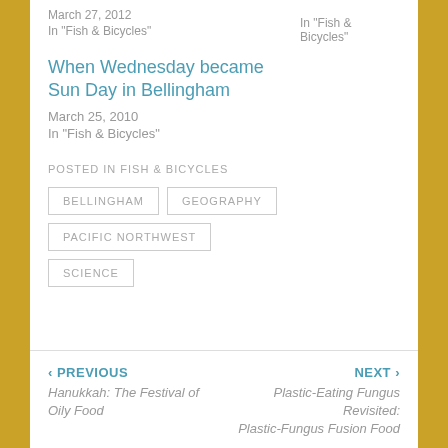March 27, 2012
In "Fish & Bicycles"
In "Fish & Bicycles"
When Wednesday became Sun Day in Bellingham
March 25, 2010
In "Fish & Bicycles"
POSTED IN FISH & BICYCLES
BELLINGHAM
GEOGRAPHY
PACIFIC NORTHWEST
SCIENCE
‹ PREVIOUS
Hanukkah: The Festival of Oily Food
NEXT ›
Plastic-Eating Fungus Revisited: Plastic-Fungus Fusion Food